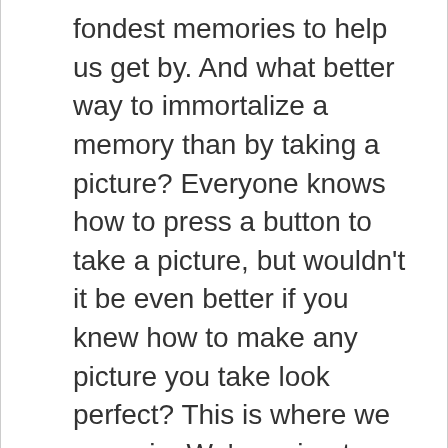fondest memories to help us get by. And what better way to immortalize a memory than by taking a picture? Everyone knows how to press a button to take a picture, but wouldn't it be even better if you knew how to make any picture you take look perfect? This is where we come in. We're going to give you 7 amazing editing tips that will help you create better pictures.